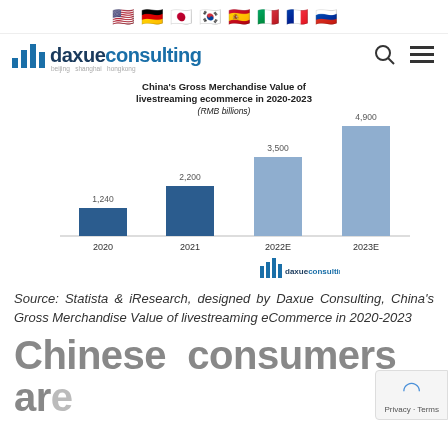🇺🇸 🇩🇪 🇯🇵 🇰🇷 🇪🇸 🇮🇹 🇫🇷 🇷🇺
[Figure (logo): Daxue Consulting logo with bar chart icon and tagline 'beijing shanghai hongkong']
[Figure (bar-chart): China's Gross Merchandise Value of livestreaming ecommerce in 2020-2023 (RMB billions)]
Source: Statista & iResearch, designed by Daxue Consulting, China's Gross Merchandise Value of livestreaming eCommerce in 2020-2023
Chinese consumers are